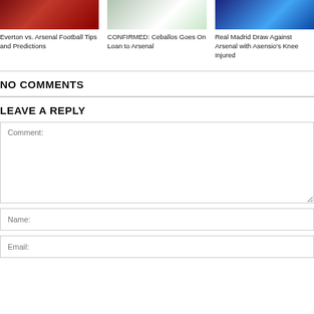[Figure (photo): Everton vs Arsenal football match photo, player in red kit]
[Figure (photo): Ceballos in white kit on green pitch]
[Figure (photo): Real Madrid vs Arsenal match, player tackle, blue and white kits]
Everton vs. Arsenal Football Tips and Predictions
CONFIRMED: Ceballos Goes On Loan to Arsenal
Real Madrid Draw Against Arsenal with Asensio's Knee Injured
NO COMMENTS
LEAVE A REPLY